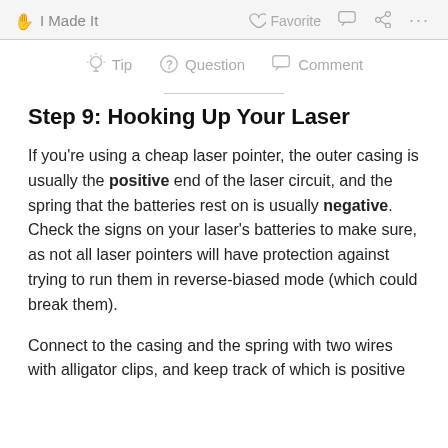I Made It   Favorite   Comment   Share   ...
Tip   Question   Comment
Step 9: Hooking Up Your Laser
If you're using a cheap laser pointer, the outer casing is usually the positive end of the laser circuit, and the spring that the batteries rest on is usually negative. Check the signs on your laser's batteries to make sure, as not all laser pointers will have protection against trying to run them in reverse-biased mode (which could break them).
Connect to the casing and the spring with two wires with alligator clips, and keep track of which is positive